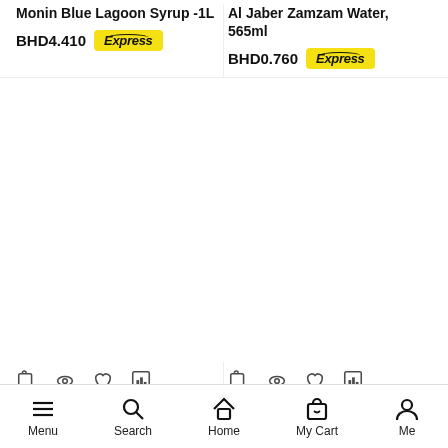Monin Blue Lagoon Syrup -1L
BHD4.410
Express
Al Jaber Zamzam Water, 565ml
BHD0.760
Express
Al Sharq Dates Syrup 400g
BHD30.340
Monin Strawberry Syrup -1L
BHD4.410
Menu  Search  Home  My Cart  Me